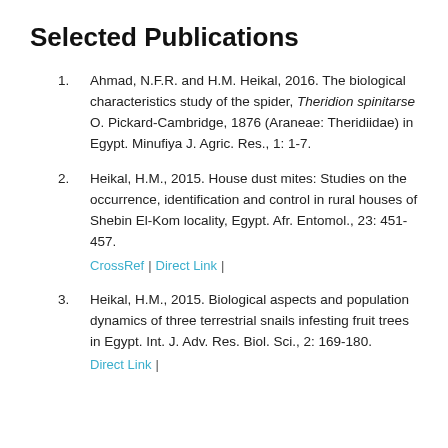Selected Publications
Ahmad, N.F.R. and H.M. Heikal, 2016. The biological characteristics study of the spider, Theridion spinitarse O. Pickard-Cambridge, 1876 (Araneae: Theridiidae) in Egypt. Minufiya J. Agric. Res., 1: 1-7.
Heikal, H.M., 2015. House dust mites: Studies on the occurrence, identification and control in rural houses of Shebin El-Kom locality, Egypt. Afr. Entomol., 23: 451-457. CrossRef | Direct Link |
Heikal, H.M., 2015. Biological aspects and population dynamics of three terrestrial snails infesting fruit trees in Egypt. Int. J. Adv. Res. Biol. Sci., 2: 169-180. Direct Link |